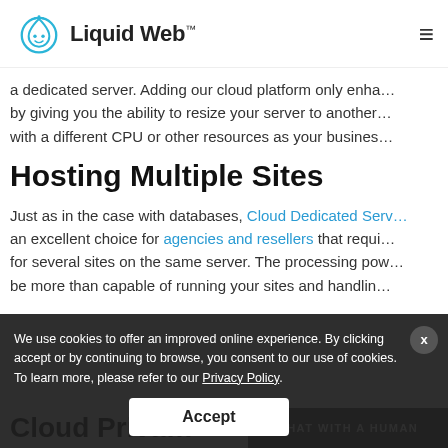Liquid Web™ [logo] [hamburger menu]
a dedicated server. Adding our cloud platform only enha… by giving you the ability to resize your server to another… with a different CPU or other resources as your busines…
Hosting Multiple Sites
Just as in the case with databases, Cloud Dedicated Serv… an excellent choice for agencies and resellers that requi… for several sites on the same server. The processing pow… be more than capable of running your sites and handlin… … into s… Alternatively, learn more from our
We use cookies to offer an improved online experience. By clicking accept or by continuing to browse, you consent to our use of cookies. To learn more, please refer to our Privacy Policy.
Accept
Cloud Priva…
CHAT WITH A HUMAN